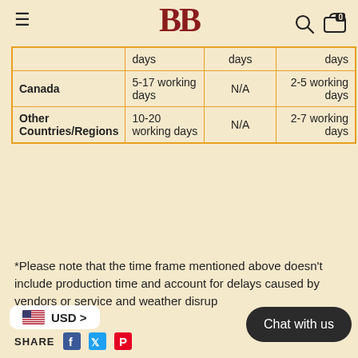BB logo with menu, search, and cart icons
|  | days | days | days |
| --- | --- | --- | --- |
| Canada | 5-17 working days | N/A | 2-5 working days |
| Other Countries/Regions | 10-20 working days | N/A | 2-7 working days |
*Please note that the time frame mentioned above doesn't include production time and account for delays caused by vendors or service and weather disrup...